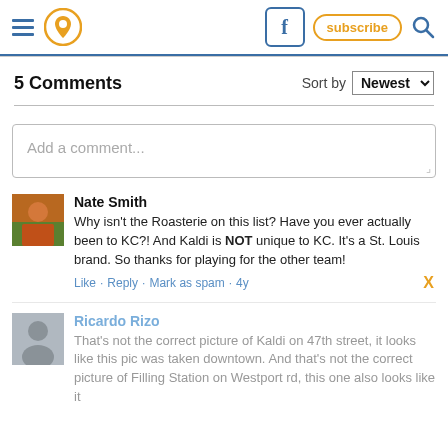Navigation header with hamburger menu, pin icon, Facebook button, subscribe button, search icon
5 Comments  Sort by Newest
Add a comment...
Nate Smith
Why isn't the Roasterie on this list? Have you ever actually been to KC?! And Kaldi is NOT unique to KC. It's a St. Louis brand. So thanks for playing for the other team!
Like · Reply · Mark as spam · 4y
Ricardo Rizo
That's not the correct picture of Kaldi on 47th street, it looks like this pic was taken downtown. And that's not the correct picture of Filling Station on Westport rd, this one also looks like it